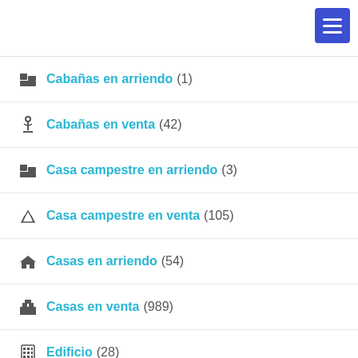Cabañas en arriendo (1)
Cabañas en venta (42)
Casa campestre en arriendo (3)
Casa campestre en venta (105)
Casas en arriendo (54)
Casas en venta (989)
Edificio (28)
Fincas en arriendo (1)
Fincas en venta (93)
Habitación (3)